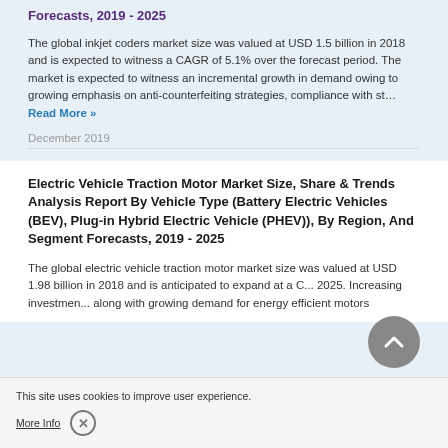Forecasts, 2019 - 2025
The global inkjet coders market size was valued at USD 1.5 billion in 2018 and is expected to witness a CAGR of 5.1% over the forecast period. The market is expected to witness an incremental growth in demand owing to growing emphasis on anti-counterfeiting strategies, compliance with st... Read More »
December 2019
Electric Vehicle Traction Motor Market Size, Share & Trends Analysis Report By Vehicle Type (Battery Electric Vehicles (BEV), Plug-in Hybrid Electric Vehicle (PHEV)), By Region, And Segment Forecasts, 2019 - 2025
The global electric vehicle traction motor market size was valued at USD 1.98 billion in 2018 and is anticipated to expand at a CAGR... 2025. Increasing investmen... along with growing demand for energy efficient motors